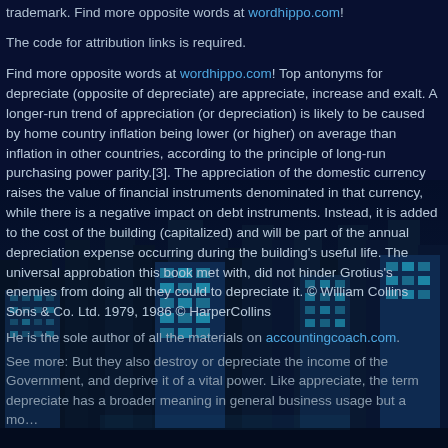trademark. Find more opposite words at wordhippo.com!
The code for attribution links is required.
Find more opposite words at wordhippo.com! Top antonyms for depreciate (opposite of depreciate) are appreciate, increase and exalt. A longer-run trend of appreciation (or depreciation) is likely to be caused by home country inflation being lower (or higher) on average than inflation in other countries, according to the principle of long-run purchasing power parity.[3]. The appreciation of the domestic currency raises the value of financial instruments denominated in that currency, while there is a negative impact on debt instruments. Instead, it is added to the cost of the building (capitalized) and will be part of the annual depreciation expense occurring during the building's useful life. The universal approbation this book met with, did not hinder Grotius's enemies from doing all they could to depreciate it. © William Collins Sons & Co. Ltd. 1979, 1986 © HarperCollins
[Figure (photo): Night cityscape with illuminated skyscrapers against dark blue sky, overlaid with text]
He is the sole author of all the materials on accountingcoach.com.
See more: But they also destroy or depreciate the income of the Government, and deprive it of a vital power. Like appreciate, the term depreciate has a broader meaning in general business usage but a mo…